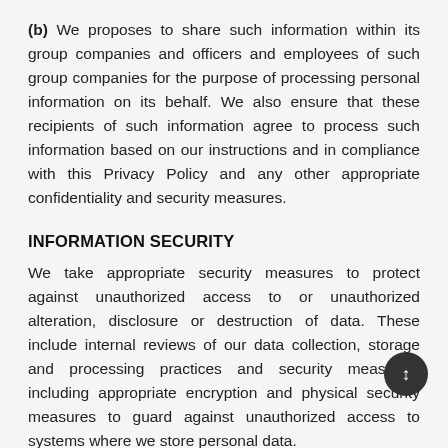(b) We proposes to share such information within its group companies and officers and employees of such group companies for the purpose of processing personal information on its behalf. We also ensure that these recipients of such information agree to process such information based on our instructions and in compliance with this Privacy Policy and any other appropriate confidentiality and security measures.
INFORMATION SECURITY
We take appropriate security measures to protect against unauthorized access to or unauthorized alteration, disclosure or destruction of data. These include internal reviews of our data collection, storage and processing practices and security measures, including appropriate encryption and physical security measures to guard against unauthorized access to systems where we store personal data.